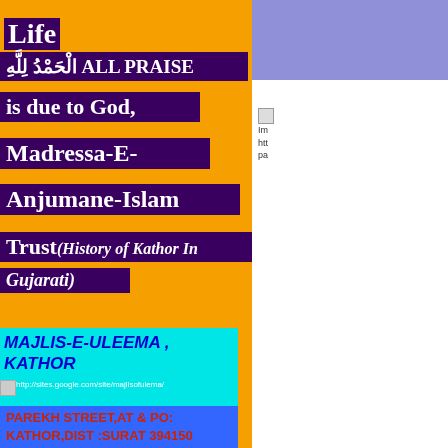Life
الْحَمْدُ لِلَّهِ ALL PRAISE is due to God,
Madressa-E-Anjumane-Islam Trust (History of Kathor In Gujarati)
MAJLIS-E-ULEEMA , KATHOR
http://sites.google.com/site/majlisofulema/
PAREKH STREET,AT & PO: KATHOR,DIST :SURAT 394150
Image http:// pa